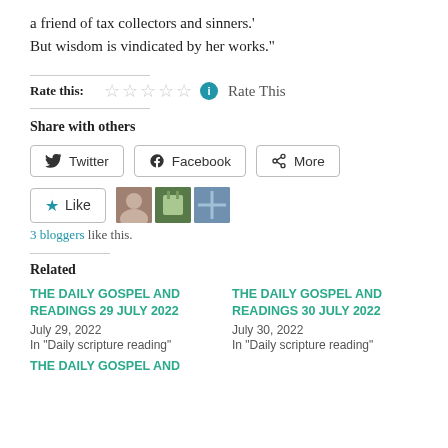a friend of tax collectors and sinners.' But wisdom is vindicated by her works."
Rate this: ☆☆☆☆☆ ⓘ Rate This
Share with others
Twitter | Facebook | More
Like | 3 bloggers like this.
Related
THE DAILY GOSPEL AND READINGS 29 JULY 2022
July 29, 2022
In "Daily scripture reading"
THE DAILY GOSPEL AND READINGS 30 JULY 2022
July 30, 2022
In "Daily scripture reading"
THE DAILY GOSPEL AND